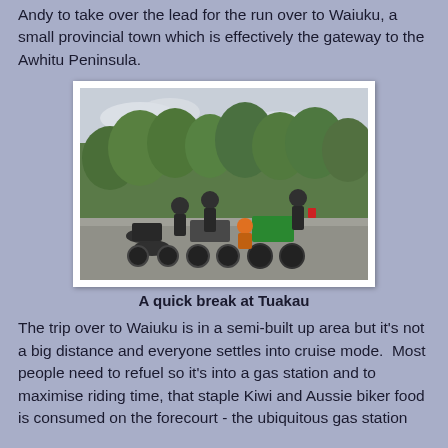Andy to take over the lead for the run over to Waiuku, a small provincial town which is effectively the gateway to the Awhitu Peninsula.
[Figure (photo): Group of motorcyclists with several bikes parked on a road, trees in background. A quick break at Tuakau.]
A quick break at Tuakau
The trip over to Waiuku is in a semi-built up area but it's not a big distance and everyone settles into cruise mode.  Most people need to refuel so it's into a gas station and to maximise riding time, that staple Kiwi and Aussie biker food is consumed on the forecourt - the ubiquitous gas station